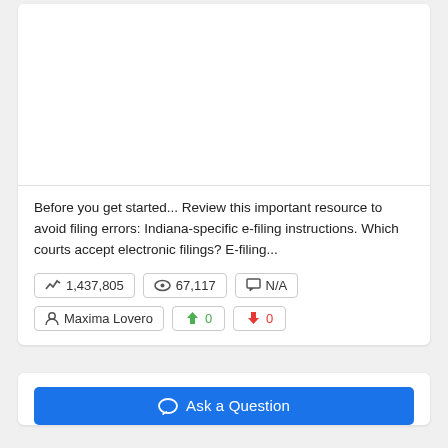[Figure (other): White image placeholder area at top of card]
Before you get started... Review this important resource to avoid filing errors: Indiana-specific e-filing instructions. Which courts accept electronic filings? E-filing...
1,437,805   67,117   N/A   Maxima Lovero   0   0
Ask a Question